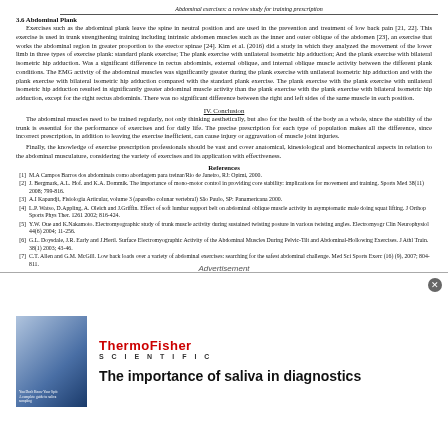Abdominal exercises: a review study for training prescription
3.6 Abdominal Plank
Exercises such as the abdominal plank leave the spine in neutral position and are used in the prevention and treatment of low back pain [21, 22]. This exercise is used in trunk strengthening training including intrinsic abdomen muscles such as the inner and outer oblique of the abdomen [23], an exercise that works the abdominal region in greater proportion to the erector spinae [24]. Kim et al. (2016) did a study in which they analyzed the movement of the lower limb in three types of exercise plank: standard plank exercise; The plank exercise with unilateral isometric hip adduction; And the plank exercise with bilateral isometric hip adduction. Was a significant difference in rectus abdominis, external oblique, and internal oblique muscle activity between the different plank conditions. The EMG activity of the abdominal muscles was significantly greater during the plank exercise with unilateral isometric hip adduction and with the plank exercise with bilateral isometric hip adduction compared with the standard plank exercise. The plank exercise with the plank exercise with unilateral isometric hip adduction resulted in significantly greater abdominal muscle activity than the plank exercise with the plank exercise with bilateral isometric hip adduction, except for the right rectus abdominis. There was no significant difference between the right and left sides of the same muscle in each position.
IV. Conclusion
The abdominal muscles need to be trained regularly, not only thinking aesthetically, but also for the health of the body as a whole, since the stability of the trunk is essential for the performance of exercises and for daily life. The precise prescription for each type of population makes all the difference, since incorrect prescription, in addition to leaving the exercise inefficient, can cause injury or aggravation of muscle joint injuries.
Finally, the knowledge of exercise prescription professionals should be vast and cover anatomical, kinesiological and biomechanical aspects in relation to the abdominal musculature, considering the variety of exercises and its application with effectiveness.
References
[1] M.A Campos Barros dos abdominais como abordagem para treinar/Rio de Janeiro, RJ: Opimi, 2000.
[2] J. Bergmark, A.L. Hof. and K.A. Dommik. The importance of mono-motor control in providing core stability: implications for movement and training. Sports Med 38(11) 2008; 799-816.
[3] A.I Kapandji, Fisiologia Articular, volume 3 (aparelho colunar vertebral) São Paulo, SP: Panamericana 2000.
[4] L.P. Watso, D.Appling, A. Oleich and J.Griffin. Effect of soft lumbar support belt on abdominal oblique muscle activity in asymptomatic male doing squat lifting. J Orthop Sports Phys Ther. 1261 2002; 8-16-424.
[5] Y.W. Oue and K.Nakamoto. Electromyographic study of trunk muscle activity during sustained twisting posture in various twisting angles. Electromyogr Clin Neurophysiol 44(6) 2004; 11-256.
[6] G.L. Doysdale, J.R. Early and J.Hertl. Surface Electromyographic Activity of the Abdominal Muscles During Pelvic-Tilt and Abdominal-Hollowing Exercises. J Athl Train. 38(1) 2003; 43-46.
[7] C.T. Allen and G.M. McGill. Low back loads over a variety of abdominal exercises: searching for the safest abdominal challenge. Med Sci Sports Exerc (16) (9), 2007; 804-811.
[Figure (infographic): Advertisement banner: ThermoFisher Scientific - The importance of saliva in diagnostics, with book cover image]